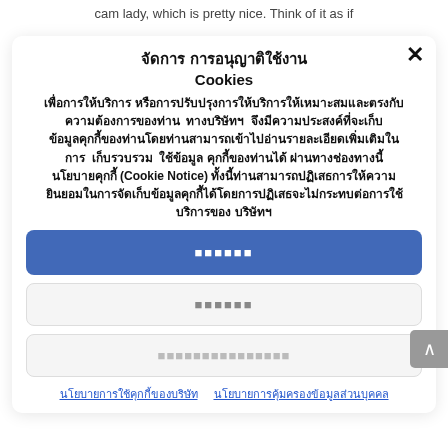cam lady, which is pretty nice. Think of it as if
จัดการ การอนุญาติใช้งาน Cookies
เพื่อการให้บริการ หรือการปรับปรุงการให้บริการให้เหมาะสมและตรงกับความต้องการของท่าน ทางบริษัทฯ จึงมีความประสงค์ที่จะเก็บข้อมูลคุกกี้ของท่านโดยท่านสามารถเข้าไปอ่านรายละเอียดเพิ่มเติมในการ เก็บรวบรวม ใช้ข้อมูล คุกกี้ของท่านได้ ผ่านทางช่องทางนี้ นโยบายคุกกี้ (Cookie Notice) ทั้งนี้ท่านสามารถปฏิเสธการให้ความยินยอมในการจัดเก็บข้อมูลคุกกี้ได้โดยการปฏิเสธจะไม่กระทบต่อการใช้บริการของ บริษัทฯ
ยอมรับ
ปฏิเสธ
ตั้งค่าการใช้คุกกี้
นโยบายการใช้คุกกี้ของบริษัท  นโยบายการคุ้มครองข้อมูลส่วนบุคคล